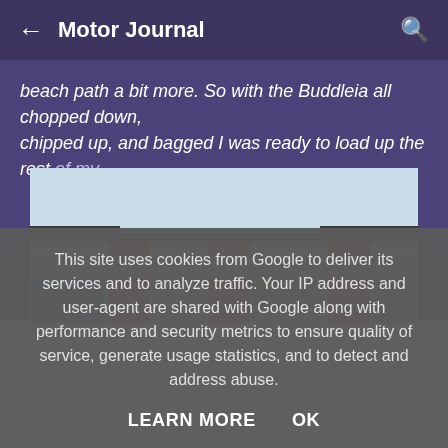← Motor Journal 🔍
beach path a bit more. So with the Buddleia all chopped down, chipped up, and bagged I was ready to load up the rest of my ...
[Figure (photo): Exterior view of garages with brick pillars and white rendered concrete beams under a pale sky, showing roofline detail and roller doors.]
This site uses cookies from Google to deliver its services and to analyze traffic. Your IP address and user-agent are shared with Google along with performance and security metrics to ensure quality of service, generate usage statistics, and to detect and address abuse.
LEARN MORE   OK